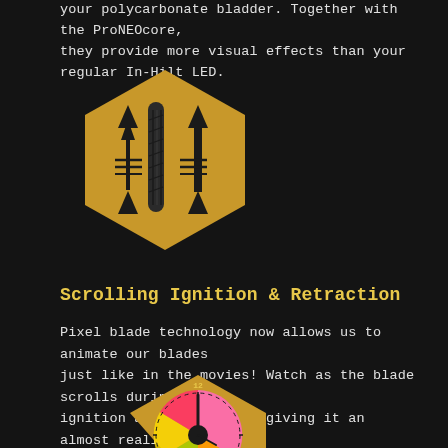your polycarbonate bladder. Together with the ProNEOcore, they provide more visual effects than your regular In-Hilt LED.
[Figure (illustration): Gold hexagon icon containing two vertical arrows (up and down) with a stylized lightsaber blade in the center, representing scrolling ignition and retraction animation]
Scrolling Ignition & Retraction
Pixel blade technology now allows us to animate our blades just like in the movies! Watch as the blade scrolls during ignition and retraction, giving it an almost realistic effect.
[Figure (illustration): Gold hexagon icon with a colorful clock/timer face showing rainbow gradient colors (pink, yellow, green) with a clock hand pointing to 12, representing a timer or color cycle feature]